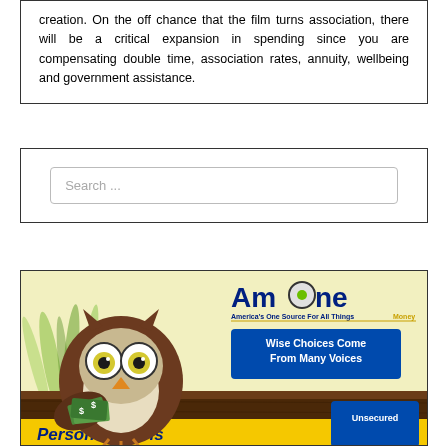creation. On the off chance that the film turns association, there will be a critical expansion in spending since you are compensating double time, association rates, annuity, wellbeing and government assistance.
[Figure (screenshot): Search input box with placeholder text 'Search ...']
[Figure (illustration): AmOne advertisement banner featuring a cartoon owl holding money, with text 'AmOne - America's One Source For All Things Money', 'Wise Choices Come From Many Voices', 'Personal Loans', 'Unsecured']